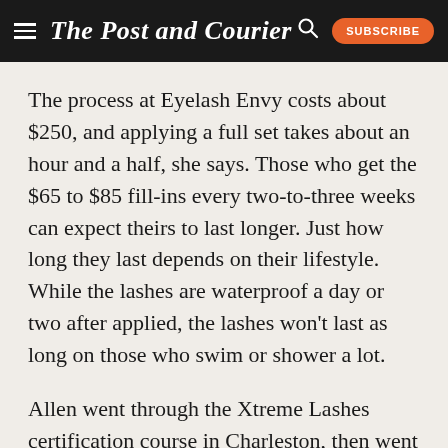The Post and Courier
The process at Eyelash Envy costs about $250, and applying a full set takes about an hour and a half, she says. Those who get the $65 to $85 fill-ins every two-to-three weeks can expect theirs to last longer. Just how long they last depends on their lifestyle. While the lashes are waterproof a day or two after applied, the lashes won't last as long on those who swim or shower a lot.
Allen went through the Xtreme Lashes certification course in Charleston, then went for a higher level of certification in Tampa.
Allen says sometimes a client wants colored lashes.